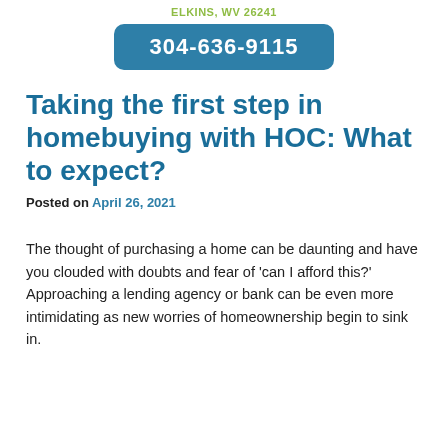ELKINS, WV 26241
304-636-9115
Taking the first step in homebuying with HOC: What to expect?
Posted on April 26, 2021
The thought of purchasing a home can be daunting and have you clouded with doubts and fear of 'can I afford this?' Approaching a lending agency or bank can be even more intimidating as new worries of homeownership begin to sink in.